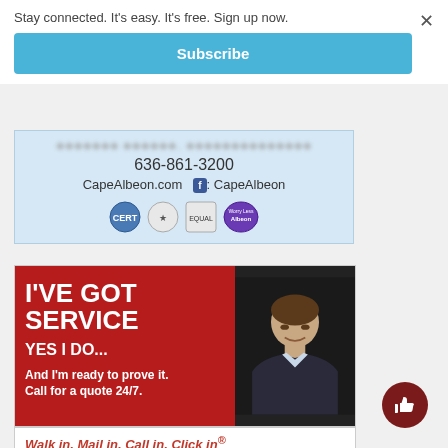Stay connected. It's easy. It's free. Sign up now.
Subscribe
[Figure (infographic): CapeAlbeon senior living ad showing phone number 636-861-3200, CapeAlbeon.com, Facebook: CapeAlbeon, and certification logos]
[Figure (infographic): Insurance agent ad with red background reading I'VE GOT SERVICE YES I DO... And I'm ready to prove it. Call for a quote 24/7. Photo of smiling male agent. Walk in, Mail in, Call in, Click in®. Tom Bond, Agent. 9712 Watson Road St. Louis, MO 63126]